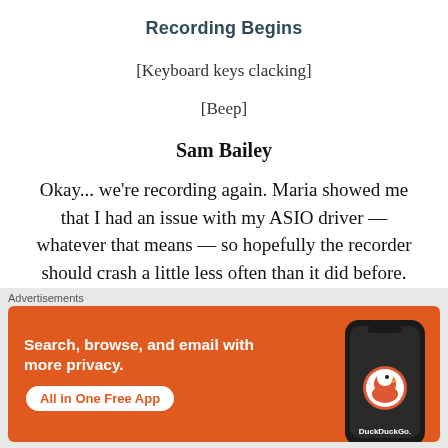Recording Begins
[Keyboard keys clacking]
[Beep]
Sam Bailey
Okay... we're recording again. Maria showed me that I had an issue with my ASIO driver — whatever that means — so hopefully the recorder should crash a little less often than it did before. She didn't know quite how the driver got that screwed up, but
[Figure (screenshot): DuckDuckGo advertisement banner with orange background. Text reads 'Search, browse, and email with more privacy. All in One Free App' with a DuckDuckGo logo on a smartphone image.]